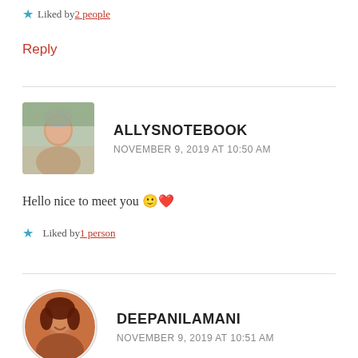★ Liked by 2 people
Reply
ALLYSNOTEBOOK
NOVEMBER 9, 2019 AT 10:50 AM
Hello nice to meet you 🙂❤
★ Liked by 1 person
DEEPANILAMANI
NOVEMBER 9, 2019 AT 10:51 AM
Me 🙂